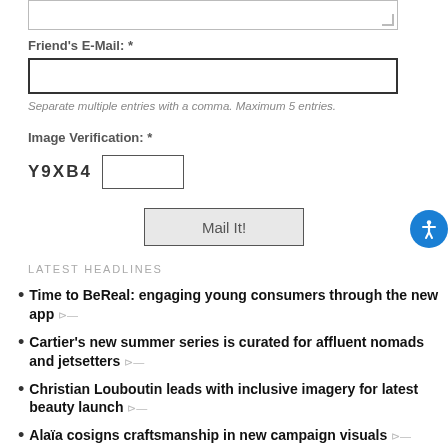[Figure (other): Textarea input box (top, partially visible)]
Friend's E-Mail: *
[Figure (other): Email text input field]
Separate multiple entries with a comma. Maximum 5 entries.
Image Verification: *
[Figure (other): CAPTCHA code Y9XB4 with input box]
[Figure (other): Mail It! submit button]
LATEST HEADLINES
Time to BeReal: engaging young consumers through the new app
Cartier's new summer series is curated for affluent nomads and jetsetters
Christian Louboutin leads with inclusive imagery for latest beauty launch
Alaïa cosigns craftsmanship in new campaign visuals
Rosewood honors Chinese heritage, highlights crown jewel